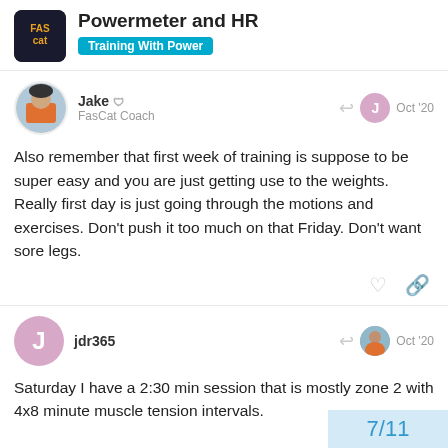Powermeter and HR — Training With Power
Jake FasCat Coach Oct '20
Also remember that first week of training is suppose to be super easy and you are just getting use to the weights. Really first day is just going through the motions and exercises. Don't push it too much on that Friday. Don't want sore legs.
jdr365 Oct '20
Saturday I have a 2:30 min session that is mostly zone 2 with 4x8 minute muscle tension intervals.
7/11